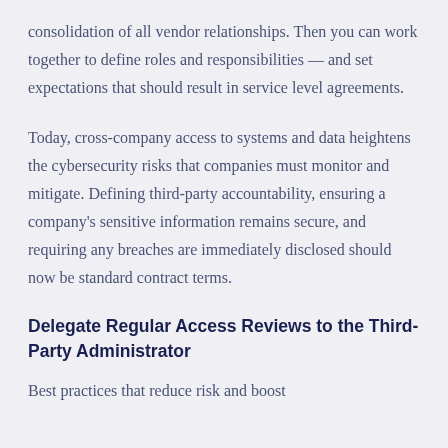consolidation of all vendor relationships. Then you can work together to define roles and responsibilities — and set expectations that should result in service level agreements.
Today, cross-company access to systems and data heightens the cybersecurity risks that companies must monitor and mitigate. Defining third-party accountability, ensuring a company's sensitive information remains secure, and requiring any breaches are immediately disclosed should now be standard contract terms.
Delegate Regular Access Reviews to the Third-Party Administrator
Best practices that reduce risk and boost